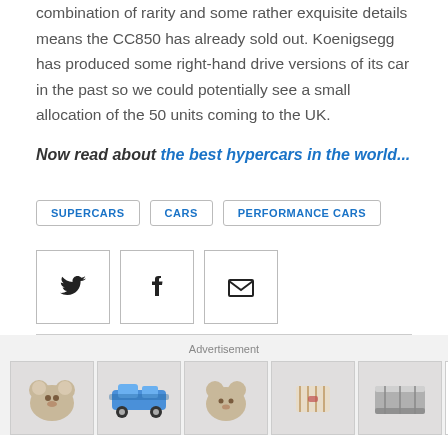combination of rarity and some rather exquisite details means the CC850 has already sold out. Koenigsegg has produced some right-hand drive versions of its car in the past so we could potentially see a small allocation of the 50 units coming to the UK.
Now read about the best hypercars in the world...
SUPERCARS
CARS
PERFORMANCE CARS
[Figure (other): Social share buttons: Twitter, Facebook, Email]
[Figure (other): Advertisement banner with toy product images and Tiny Land brand logo]